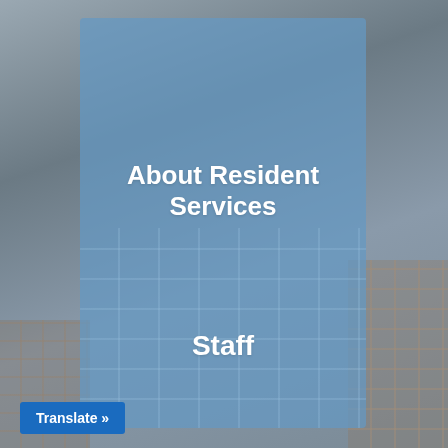[Figure (photo): Background photo of building exterior with grayish sky, with a semi-transparent blue overlay panel in the center.]
About Resident Services
Staff
Translate »